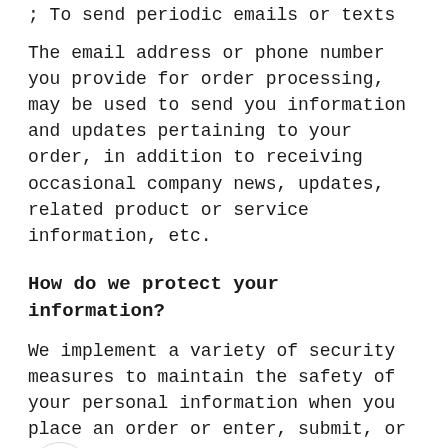; To send periodic emails or texts
The email address or phone number you provide for order processing, may be used to send you information and updates pertaining to your order, in addition to receiving occasional company news, updates, related product or service information, etc.
How do we protect your information?
We implement a variety of security measures to maintain the safety of your personal information when you place an order or enter, submit, or access your personal information.
We offer the use of a secure server. All supplied